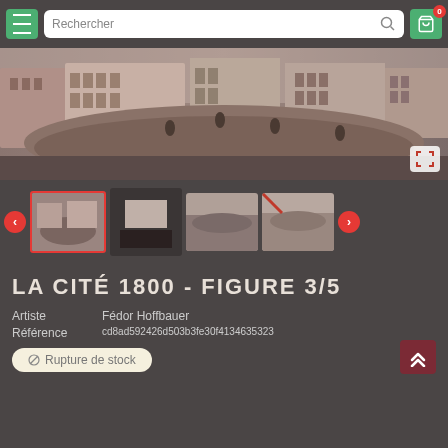[Figure (screenshot): Mobile e-commerce website header with hamburger menu, search bar with 'Rechercher' placeholder, and green cart button with badge '0']
[Figure (photo): Historical sepia-tone panoramic image showing construction work in a city around 1800, with workers digging and buildings in the background]
[Figure (screenshot): Thumbnail gallery row showing 4 thumbnails of the artwork in different contexts, with red left/right navigation arrows]
LA CITÉ 1800 - FIGURE 3/5
Artiste   Fédor Hoffbauer
Référence   cd8ad592426d503b3fe30f4134635323
⊘ Rupture de stock